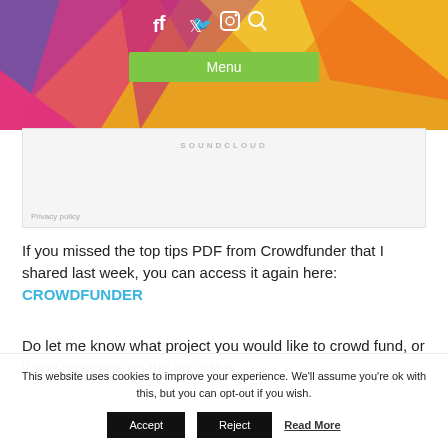[Figure (screenshot): Colorful geometric triangle header background with social media icons (Facebook, Twitter, Instagram, Search) and a green Menu button]
[Figure (screenshot): SoundCloud embedded player box with 'SOUNDCLOUD' label and Privacy policy link]
If you missed the top tips PDF from Crowdfunder that I shared last week, you can access it again here: CROWDFUNDER
Do let me know what project you would like to crowd fund, or if you have one on the go at the
This website uses cookies to improve your experience. We'll assume you're ok with this, but you can opt-out if you wish.